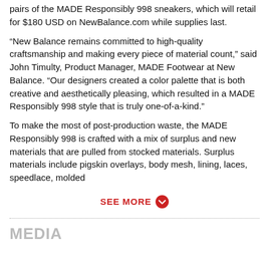pairs of the MADE Responsibly 998 sneakers, which will retail for $180 USD on NewBalance.com while supplies last.
“New Balance remains committed to high-quality craftsmanship and making every piece of material count,” said John Timulty, Product Manager, MADE Footwear at New Balance. “Our designers created a color palette that is both creative and aesthetically pleasing, which resulted in a MADE Responsibly 998 style that is truly one-of-a-kind.”
To make the most of post-production waste, the MADE Responsibly 998 is crafted with a mix of surplus and new materials that are pulled from stocked materials. Surplus materials include pigskin overlays, body mesh, lining, laces, speedlace, molded
SEE MORE
MEDIA